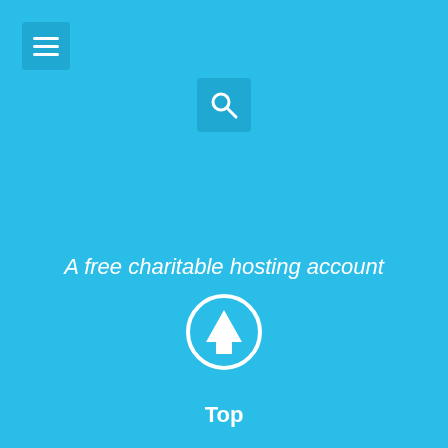[Figure (screenshot): Mobile website screenshot with bright blue background showing a hamburger menu icon in top-left, a search icon in the upper center, italic text reading 'A free charitable hosting account', an upward arrow circle icon, and 'Top' text label at the bottom.]
A free charitable hosting account
Top